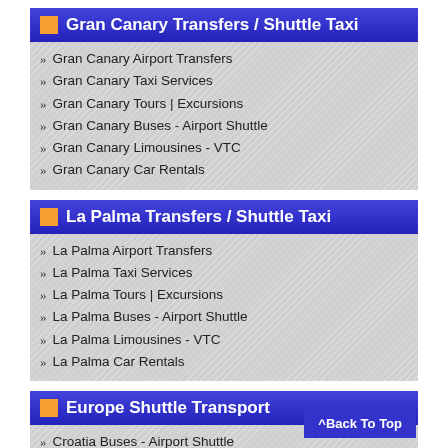Gran Canary Transfers / Shuttle Taxi
Gran Canary Airport Transfers
Gran Canary Taxi Services
Gran Canary Tours | Excursions
Gran Canary Buses - Airport Shuttle
Gran Canary Limousines - VTC
Gran Canary Car Rentals
La Palma Transfers / Shuttle Taxi
La Palma Airport Transfers
La Palma Taxi Services
La Palma Tours | Excursions
La Palma Buses - Airport Shuttle
La Palma Limousines - VTC
La Palma Car Rentals
Europe Shuttle Transport
Croatia Buses - Airport Shuttle
Denmark Buses - Airport Shuttle
Switzerland Buses - Airport Shuttle
Netherlands Buses - Airport Shuttle
Turkey Buses - Airport Shuttle
Cyprus Airport Transfers Taxi
Luxembourg Buses - Airport Shuttle
^Back To Top